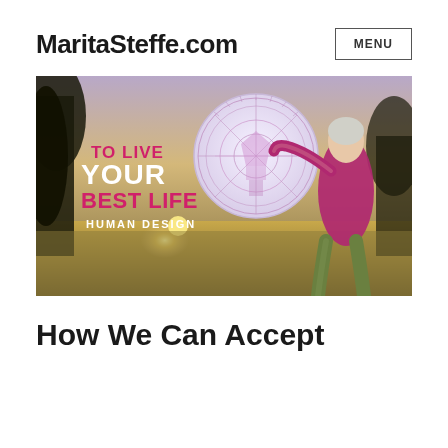MaritaSteffe.com
[Figure (photo): Woman in a magenta top smiling and holding up a large frisbee/disc with a Human Design wheel chart printed on it. Text overlay reads: TO LIVE YOUR BEST LIFE HUMAN DESIGN. Outdoor sunset/golden hour background with trees and fields.]
How We Can Accept